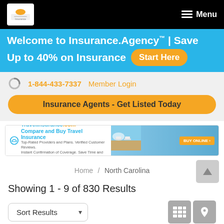Menu
Welcome to Insurance.Agency™ | Save Up to 40% on Insurance
Start Here
1-844-433-7337   Member Login
Insurance Agents - Get Listed Today
[Figure (screenshot): Travel Insurance advertisement banner: Compare and Buy Travel Insurance. Top-Rated Providers and Plans. Verified Customer Reviews. Instant Confirmation of Coverage. Save Time and Money. Buy Online button.]
Home / North Carolina
Showing 1 - 9 of 830 Results
Sort Results